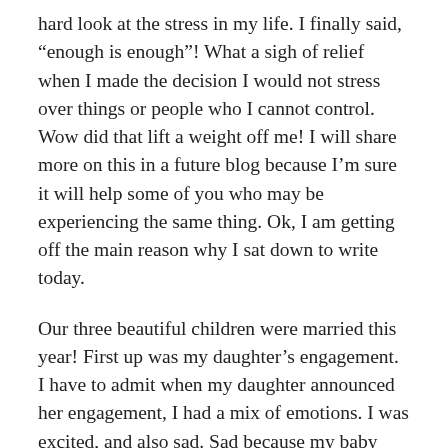hard look at the stress in my life. I finally said, “enough is enough”! What a sigh of relief when I made the decision I would not stress over things or people who I cannot control. Wow did that lift a weight off me! I will share more on this in a future blog because I’m sure it will help some of you who may be experiencing the same thing. Ok, I am getting off the main reason why I sat down to write today.
Our three beautiful children were married this year! First up was my daughter’s engagement. I have to admit when my daughter announced her engagement, I had a mix of emotions. I was excited, and also sad. Sad because my baby was leaving home and as you mothers know who have married children, your relationship changes. The big